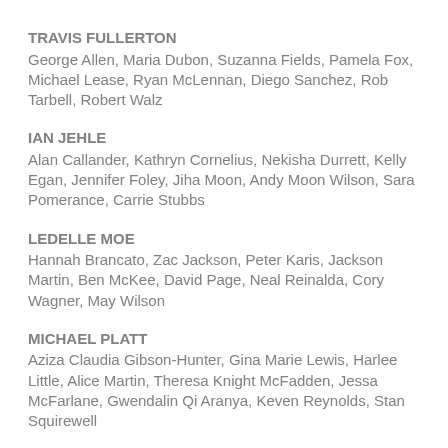TRAVIS FULLERTON
George Allen, Maria Dubon, Suzanna Fields, Pamela Fox, Michael Lease, Ryan McLennan, Diego Sanchez, Rob Tarbell, Robert Walz
IAN JEHLE
Alan Callander, Kathryn Cornelius, Nekisha Durrett, Kelly Egan, Jennifer Foley, Jiha Moon, Andy Moon Wilson, Sara Pomerance, Carrie Stubbs
LEDELLE MOE
Hannah Brancato, Zac Jackson, Peter Karis, Jackson Martin, Ben McKee, David Page, Neal Reinalda, Cory Wagner, May Wilson
MICHAEL PLATT
Aziza Claudia Gibson-Hunter, Gina Marie Lewis, Harlee Little, Alice Martin, Theresa Knight McFadden, Jessa McFarlane, Gwendalin Qi Aranya, Keven Reynolds, Stan Squirewell